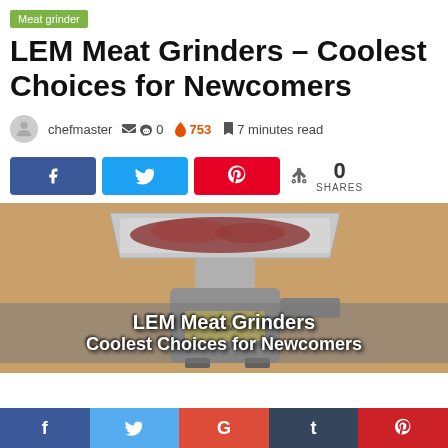Meat grinder
LEM Meat Grinders – Coolest Choices for Newcomers
chefmaster  0  753  7 minutes read
[Figure (infographic): Social share buttons: Facebook (blue), Twitter (light blue), Pinterest (red), and share count showing 0 SHARES]
[Figure (photo): Photo of a LEM meat grinder with raw meat in the tray, wood background. Overlay text reads: LEM Meat Grinders / Coolest Choices for Newcomers]
f  t (Twitter bird)  G  t (Tumblr)  p (Pinterest)